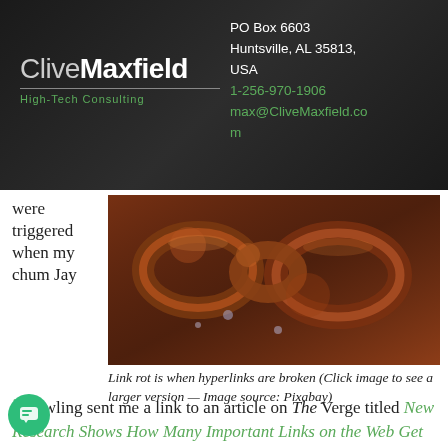CliveMaxfield High-Tech Consulting | PO Box 6603, Huntsville, AL 35813, USA | 1-256-970-1906 | max@CliveMaxfield.com
were triggered when my chum Jay
[Figure (photo): Close-up photo of rusty metal chain links with orange-brown corrosion and water droplets]
Link rot is when hyperlinks are broken (Click image to see a larger version — Image source: Pixabay)
12Dowling sent me a link to an article on The Verge titled New Research Shows How Many Important Links on the Web Get Lost to Time.